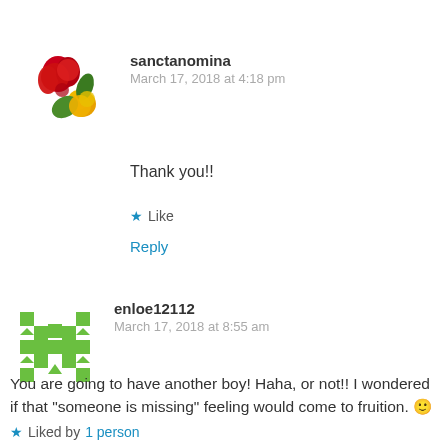[Figure (photo): Avatar image of red and yellow flowers for user sanctanomina]
sanctanomina
March 17, 2018 at 4:18 pm
Thank you!!
★ Like
Reply
[Figure (illustration): Green geometric pattern avatar for user enloe12112]
enloe12112
March 17, 2018 at 8:55 am
You are going to have another boy! Haha, or not!! I wondered if that "someone is missing" feeling would come to fruition. 🙂
★ Liked by 1 person